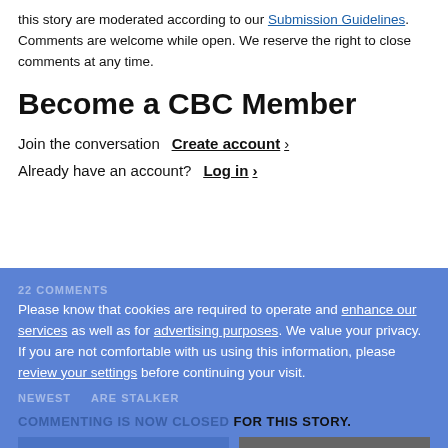this story are moderated according to our Submission Guidelines. Comments are welcome while open. We reserve the right to close comments at any time.
Become a CBC Member
Join the conversation  Create account ›
Already have an account?  Log in ›
22 COMMENTS
Please know that cookies are required to operate and enhance our services as well as for advertising purposes. We value your privacy. If you are not comfortable with us using this information, please review your settings before continuing your visit.
NEWEST  ARE STALKER
COMMENTING IS NOW CLOSED FOR THIS STORY.
Learn more
✕ Close